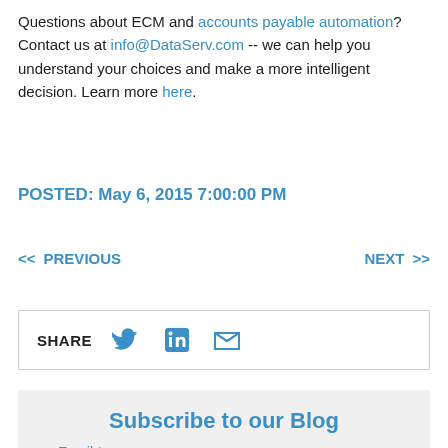Questions about ECM and accounts payable automation?  Contact us at info@DataServ.com -- we can help you understand your choices and make a more intelligent decision. Learn more here.
POSTED: May 6, 2015 7:00:00 PM
<< PREVIOUS   NEXT >>
SHARE (Twitter, LinkedIn, Email icons)
Subscribe to our Blog
Email *